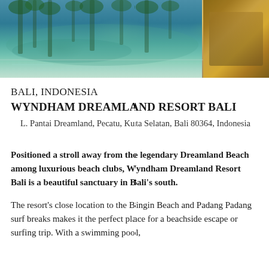[Figure (photo): Aerial or ground-level photo of Wyndham Dreamland Resort Bali showing a swimming pool with turquoise water surrounded by tropical greenery, and a thatched-roof structure on the right side.]
BALI, INDONESIA
WYNDHAM DREAMLAND RESORT BALI
L. Pantai Dreamland, Pecatu, Kuta Selatan, Bali 80364, Indonesia
Positioned a stroll away from the legendary Dreamland Beach among luxurious beach clubs, Wyndham Dreamland Resort Bali is a beautiful sanctuary in Bali's south.
The resort's close location to the Bingin Beach and Padang Padang surf breaks makes it the perfect place for a beachside escape or surfing trip. With a swimming pool,